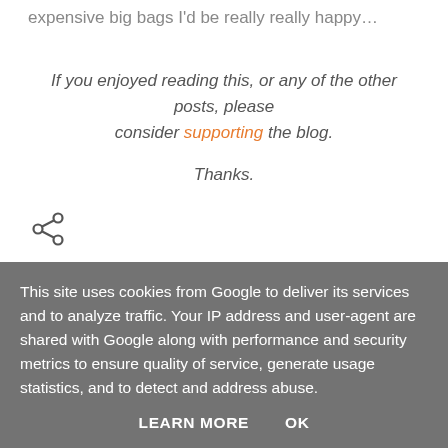expensive big bags I'd be really really happy…
If you enjoyed reading this, or any of the other posts, please consider supporting the blog.

Thanks.
[Figure (other): Share icon (less-than arrow style share symbol)]
Essex Miniatures
figures
Freikorps 15
This site uses cookies from Google to deliver its services and to analyze traffic. Your IP address and user-agent are shared with Google along with performance and security metrics to ensure quality of service, generate usage statistics, and to detect and address abuse.

LEARN MORE   OK